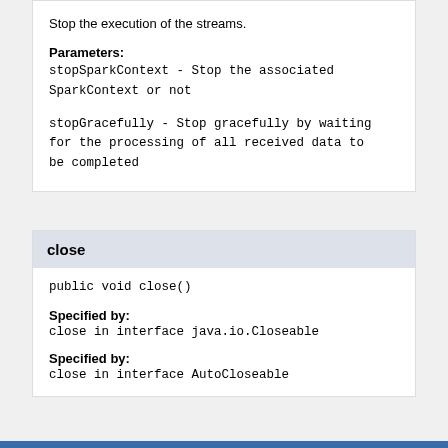Stop the execution of the streams.
Parameters:
stopSparkContext - Stop the associated SparkContext or not
stopGracefully - Stop gracefully by waiting for the processing of all received data to be completed
close
public void close()
Specified by:
close in interface java.io.Closeable
Specified by:
close in interface AutoCloseable